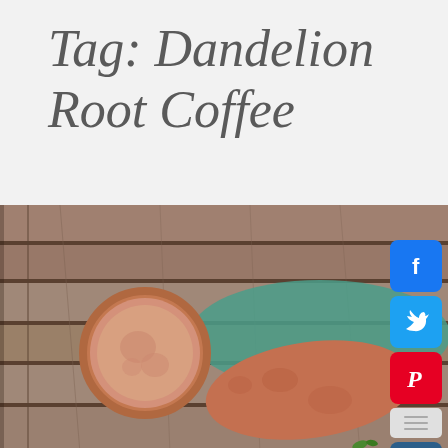Tag: Dandelion Root Coffee
[Figure (photo): A sweet potato cut in half showing the flesh, with the whole sweet potato beside it, placed on wooden planks with a teal/green painted accent area, photographed from above.]